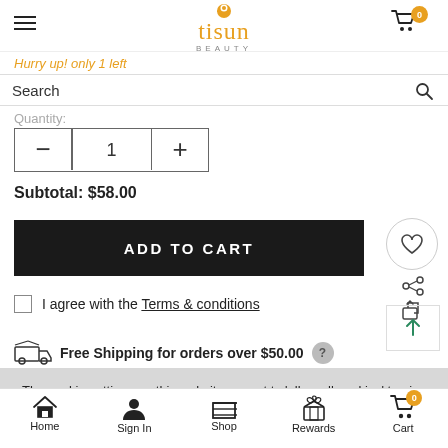tisun BEAUTY — Cart 0
Hurry up! only 1 left
Search
Quantity:
- 1 +
Subtotal: $58.00
ADD TO CART
I agree with the Terms & conditions
Free Shipping for orders over $50.00
The cookie settings on this website are set to 'allow all cookies' to give you the very best experience. Please click
Home  Sign In  Shop  Rewards  Cart 0